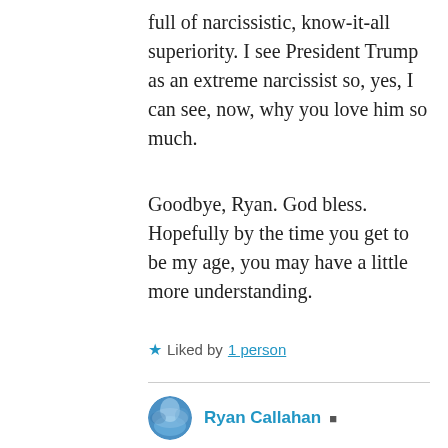full of narcissistic, know-it-all superiority. I see President Trump as an extreme narcissist so, yes, I can see, now, why you love him so much.
Goodbye, Ryan. God bless. Hopefully by the time you get to be my age, you may have a little more understanding.
★ Liked by 1 person
Ryan Callahan
January 18, 2020 at 12:21 pm
Wow, that was mean, thanks a lot Linda. I